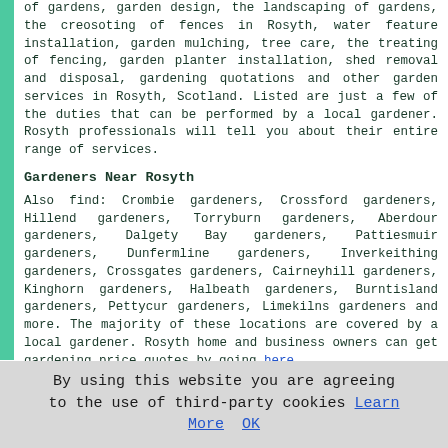of gardens, garden design, the landscaping of gardens, the creosoting of fences in Rosyth, water feature installation, garden mulching, tree care, the treating of fencing, garden planter installation, shed removal and disposal, gardening quotations and other garden services in Rosyth, Scotland. Listed are just a few of the duties that can be performed by a local gardener. Rosyth professionals will tell you about their entire range of services.
Gardeners Near Rosyth
Also find: Crombie gardeners, Crossford gardeners, Hillend gardeners, Torryburn gardeners, Aberdour gardeners, Dalgety Bay gardeners, Pattiesmuir gardeners, Dunfermline gardeners, Inverkeithing gardeners, Crossgates gardeners, Cairneyhill gardeners, Kinghorn gardeners, Halbeath gardeners, Burntisland gardeners, Pettycur gardeners, Limekilns gardeners and more. The majority of these locations are covered by a local gardener. Rosyth home and business owners can get gardening price quotes by going here.
Garden Services Around Scotland
By using this website you are agreeing to the use of third-party cookies Learn More  OK